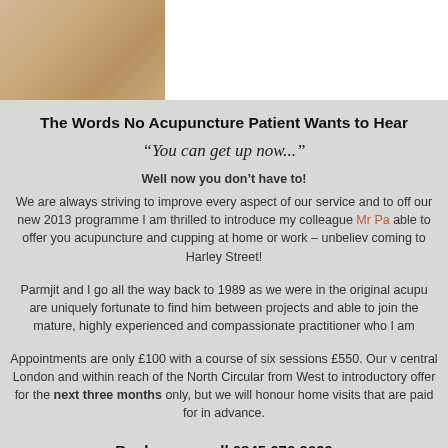[Figure (photo): Close-up photo of skin/body, beige-tan tones, partial view at top-left]
The Words No Acupuncture Patient Wants to Hear
“You can get up now...”
Well now you don’t have to!
We are always striving to improve every aspect of our service and to offer our new 2013 programme I am thrilled to introduce my colleague Mr Pa... able to offer you acupuncture and cupping at home or work – unbeliev... coming to Harley Street!
Parmjit and I go all the way back to 1989 as we were in the original acupu... are uniquely fortunate to find him between projects and able to join the... mature, highly experienced and compassionate practitioner who I am...
Appointments are only £100 with a course of six sessions £550. Our... central London and within reach of the North Circular from West to... introductory offer for the next three months only, but we will honour... home visits that are paid for in advance.
Book now – call 0845 676 9699
or email info@newmedicinegroup.com